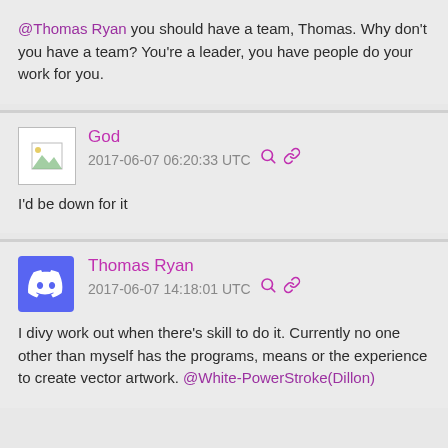@Thomas Ryan you should have a team, Thomas. Why don't you have a team? You're a leader, you have people do your work for you.
God
2017-06-07 06:20:33 UTC
I'd be down for it
Thomas Ryan
2017-06-07 14:18:01 UTC
I divy work out when there's skill to do it. Currently no one other than myself has the programs, means or the experience to create vector artwork. @White-PowerStroke(Dillon)